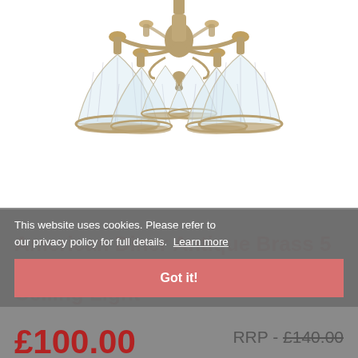[Figure (photo): An American Diner Antique Brass 5 Light Ceiling Light chandelier with clear ribbed glass shades and brass fittings, photographed on white background, cropped at top.]
This website uses cookies. Please refer to our privacy policy for full details. Learn more
American Diner Antique Brass 5 Light Ceiling Light
Got it!
£100.00
RRP - £140.00